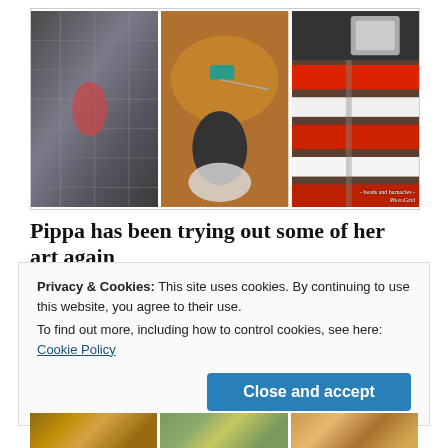[Figure (photo): Three-panel photo grid showing crafting/sewing activities: left panel shows dark blue/white knitted or woven fabric, middle panel shows a hand holding a dark fabric piece with orange cushion and teal tool in background, right panel shows a sewing machine stitching red and white striped fabric with watermark 'beads and barnacles - PhotoGrid']
Pippa has been trying out some of her art again
Privacy & Cookies: This site uses cookies. By continuing to use this website, you agree to their use.
To find out more, including how to control cookies, see here: Cookie Policy
[Figure (photo): Bottom strip showing three partial photos of what appear to be illustrated/artistic images with warm golden and green tones]